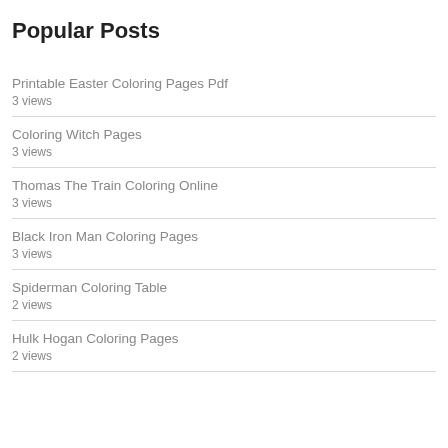Popular Posts
Printable Easter Coloring Pages Pdf
3 views
Coloring Witch Pages
3 views
Thomas The Train Coloring Online
3 views
Black Iron Man Coloring Pages
3 views
Spiderman Coloring Table
2 views
Hulk Hogan Coloring Pages
2 views